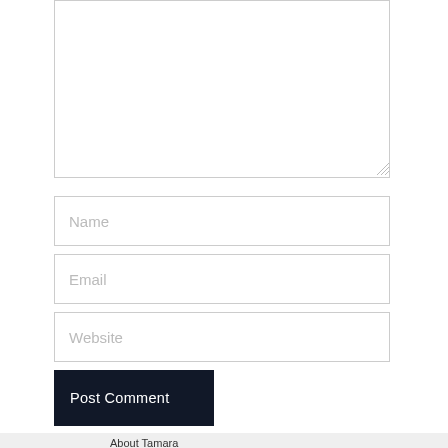[Figure (screenshot): A comment form textarea (empty, with resize handle at bottom-right corner), followed by Name, Email, and Website input fields, a dark Post Comment button, and the beginning of an About Tamara author bio section with avatar icon.]
Name
Email
Website
Post Comment
About Tamara
A fashion designer by profession, writer by choice